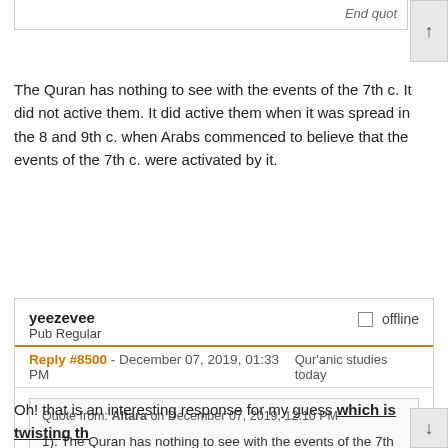End quote
The Quran has nothing to see with the events of the 7th c. It did not active them. It did active them when it was spread in the 8 and 9th c. when Arabs commenced to believe that the events of the 7th c. were activated by it.
yeezevee
Pub Regular
offline
Reply #8500 - December 07, 2019, 01:33 PM    Qur'anic studies today
Quote from: Altara on December 07, 2019, 12:10 PM
1). The Quran has nothing to see with the events of the 7th c. 2). It did not active them. It did active them when it was spread in the 8 and 9th c. 3). when Arabs commenced to believe that the events of the 7th c. were activated by it....
End quote
Oh! that is an interesting response for my guess which is twisting th